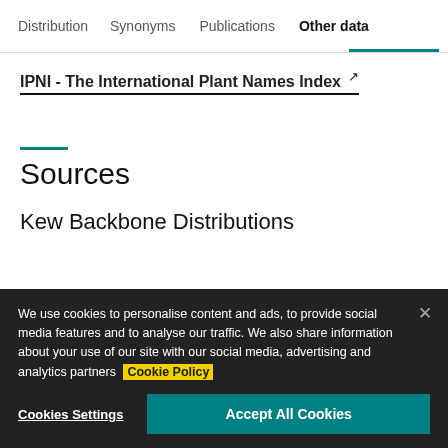Distribution   Synonyms   Publications   Other data
IPNI - The International Plant Names Index ↗
Sources
Kew Backbone Distributions
We use cookies to personalise content and ads, to provide social media features and to analyse our traffic. We also share information about your use of our site with our social media, advertising and analytics partners Cookie Policy
Cookies Settings
Accept All Cookies